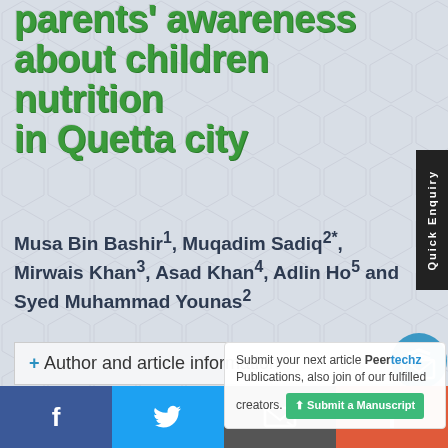parents' awareness about children nutrition in Quetta city
Musa Bin Bashir¹, Muqadim Sadiq²*, Mirwais Khan³, Asad Khan⁴, Adlin Ho⁵ and Syed Muhammad Younas²
+ Author and article information
¹Xian Jiaotong University, China
Submit your next article Peertechz Publications, also join of our fulfilled creators.